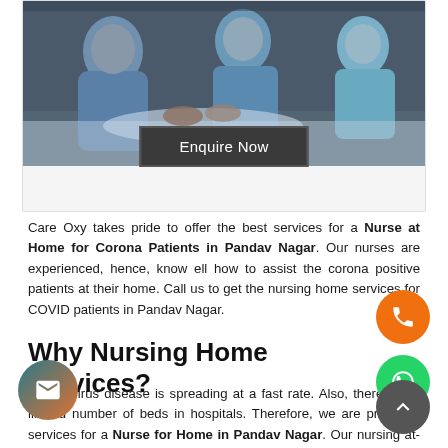[Figure (photo): Medical professionals in blue/teal protective gear attending to a patient on a bed, viewed from above. Dark background.]
Enquire Now
Care Oxy takes pride to offer the best services for a Nurse at Home for Corona Patients in Pandav Nagar. Our nurses are experienced, hence, know ell how to assist the corona positive patients at their home. Call us to get the nursing home services for COVID patients in Pandav Nagar.
Why Nursing Home Services?
Coronavirus disease is spreading at a fast rate. Also, there are a limited number of beds in hospitals. Therefore, we are providing services for a Nurse for Home in Pandav Nagar. Our nursing at-home services are most beneficial for the patients during the home